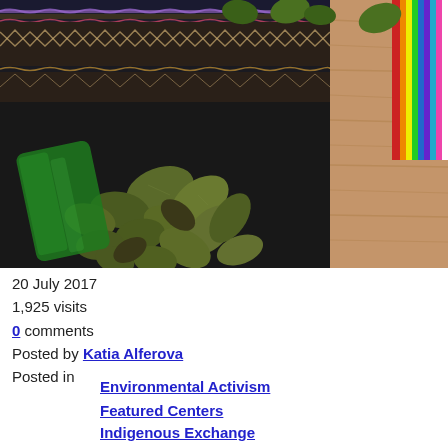[Figure (photo): Overhead photo of coca leaves spilling from a green plastic bag onto a dark woven textile/blanket with geometric patterns and wave designs. On the right side is visible a wooden surface and a colorful striped fabric.]
20 July 2017
1,925 visits
0 comments
Posted by Katia Alferova
Posted in
Environmental Activism
Featured Centers
Indigenous Exchange
Permaculture